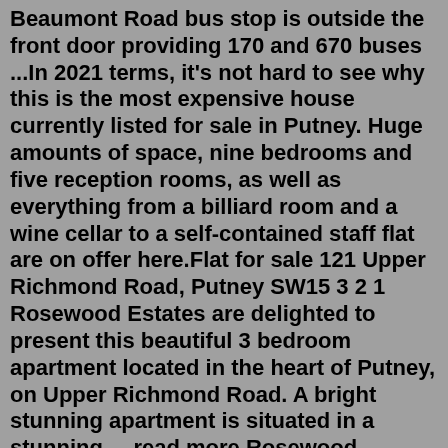Beaumont Road bus stop is outside the front door providing 170 and 670 buses ...In 2021 terms, it's not hard to see why this is the most expensive house currently listed for sale in Putney. Huge amounts of space, nine bedrooms and five reception rooms, as well as everything from a billiard room and a wine cellar to a self-contained staff flat are on offer here.Flat for sale 121 Upper Richmond Road, Putney SW15 3 2 1 Rosewood Estates are delighted to present this beautiful 3 bedroom apartment located in the heart of Putney, on Upper Richmond Road. A bright stunning apartment is situated in a stunning ... read more Rosewood Estates New build £1,175,000 Flat for sale Juniper Drive, London SW18 3 2 1Homely offers 357 Properties And Real Estate For Sale in Putney, NSW 2112. Find the latest property listings around Putney including surrounding suburbs, with easy filtering options. Find your next home or property here.Browse a wide range of flats to buy in Putney Hill, London SW15 with Primelocation. See apartments from the leading agents in Putney Hill